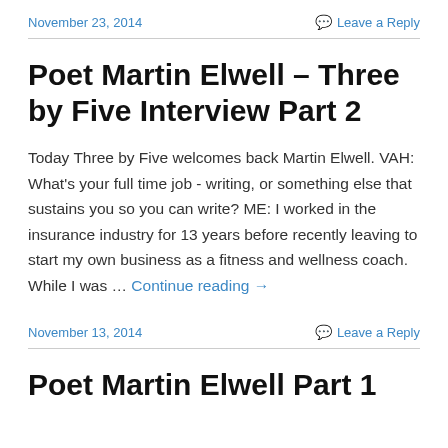November 23, 2014    Leave a Reply
Poet Martin Elwell – Three by Five Interview Part 2
Today Three by Five welcomes back Martin Elwell. VAH: What's your full time job - writing, or something else that sustains you so you can write? ME: I worked in the insurance industry for 13 years before recently leaving to start my own business as a fitness and wellness coach. While I was … Continue reading →
November 13, 2014    Leave a Reply
Poet Martin Elwell Part 1